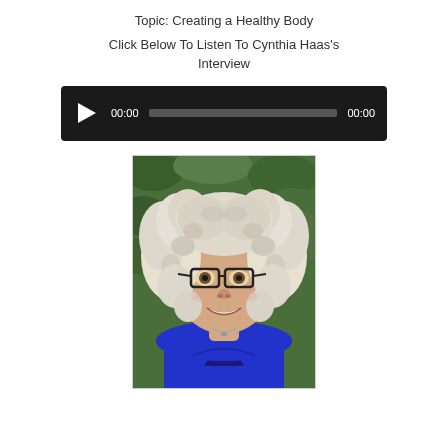Topic: Creating a Healthy Body
Click Below To Listen To Cynthia Haas's Interview
[Figure (screenshot): Audio player widget with dark background, play button, time display showing 00:00, progress bar, and end time 00:00]
[Figure (photo): Portrait photo of Cynthia Haas, a woman with curly blonde-white hair, black-rimmed glasses, smiling, wearing a blue top, with green foliage in the background]